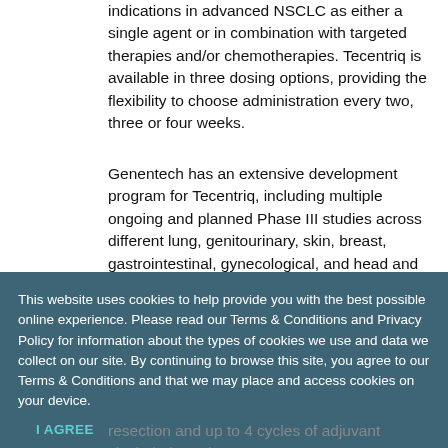indications in advanced NSCLC as either a single agent or in combination with targeted therapies and/or chemotherapies. Tecentriq is available in three dosing options, providing the flexibility to choose administration every two, three or four weeks.
Genentech has an extensive development program for Tecentriq, including multiple ongoing and planned Phase III studies across different lung, genitourinary, skin, breast, gastrointestinal, gynecological, and head and neck cancers. This includes studies evaluating Tecentriq both alone and in combination with other medicines, as well as
This website uses cookies to help provide you with the best possible online experience. Please read our Terms & Conditions and Privacy Policy for information about the types of cookies we use and data we collect on our site. By continuing to browse this site, you agree to our Terms & Conditions and that we may place and access cookies on your device.
I AGREE
resection and up to 4 cycles of adjuvant cisplatin-based